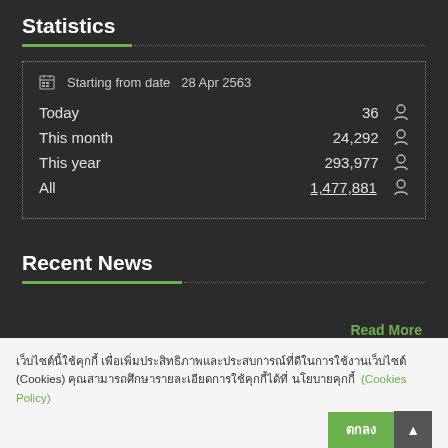Statistics
| Label | Value |
| --- | --- |
| Starting from date | 28 Apr 2563 |
| Today | 36 |
| This month | 24,292 |
| This year | 293,977 |
| All | 1,477,881 |
Recent News
Read More
เว็บไซต์นี้ใช้คุกกี้ เพื่อเพิ่มประสิทธิภาพและประสบการณ์ที่ดีในการใช้งานเว็บไซต์ (Cookies) คุณสามารถศึกษารายละเอียดการใช้คุกกี้ได้ที่ นโยบายคุกกี้ (Cookies Policy)